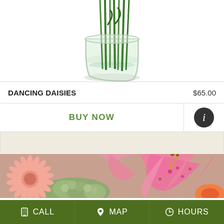[Figure (photo): Partial view of a floral arrangement in a glass vase with green stems, cut off at top]
DANCING DAISIES
$65.00
BUY NOW
[Figure (infographic): Info (i) button icon in dark circle]
[Figure (photo): Close-up photo of pink stargazer lilies, pink gerbera daisy, green hydrangea, and orange flower arrangement]
CALL  MAP  HOURS